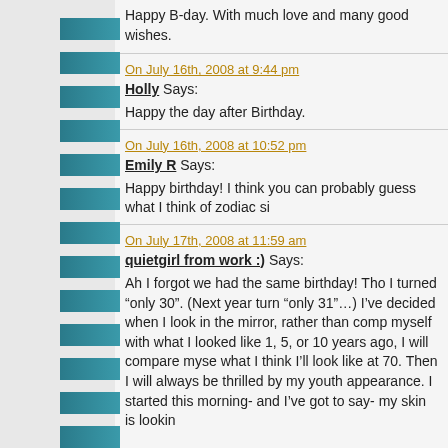Happy B-day. With much love and many good wishes.
On July 16th, 2008 at 9:44 pm
Holly Says:
Happy the day after Birthday.
On July 16th, 2008 at 10:52 pm
Emily R Says:
Happy birthday! I think you can probably guess what I think of zodiac si
On July 17th, 2008 at 11:59 am
quietgirl from work :) Says:
Ah I forgot we had the same birthday! Tho I turned "only 30". (Next year turn "only 31"…) I've decided when I look in the mirror, rather than comparing myself with what I looked like 1, 5, or 10 years ago, I will compare myself what I think I'll look like at 70. Then I will always be thrilled by my youthful appearance. I started this morning- and I've got to say- my skin is lookin